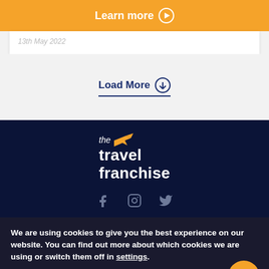Learn more ▶
13th May 2022
Load More ⊕
[Figure (logo): The Travel Franchise logo with orange plane icon, white text on dark navy background]
[Figure (infographic): Social media icons: Facebook, Instagram, Twitter on dark navy background]
We are using cookies to give you the best experience on our website. You can find out more about which cookies we are using or switch them off in settings.
Accept